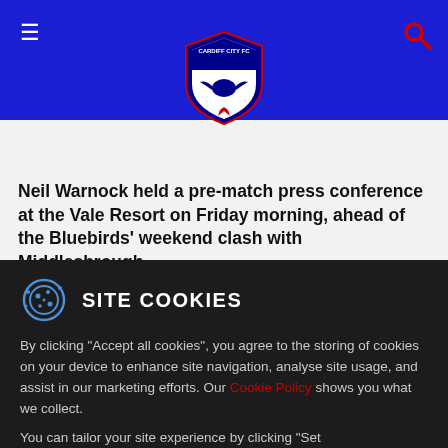Cardiff City FC navigation header with hamburger menu, logo, and search icon
Neil Warnock held a pre-match press conference at the Vale Resort on Friday morning, ahead of the Bluebirds' weekend clash with Middlesbrough.
Cardiff City vs. Middlesbrough Tickets!
The Gaffer reflected on City's comfortable midweek win over Bolton Wanderers, before explaining how his men will approach Saturday's game, as they look to stretch
SITE COOKIES
By clicking “Accept all cookies”, you agree to the storing of cookies on your device to enhance site navigation, analyse site usage, and assist in our marketing efforts. Our Cookie Policy shows you what we collect.
You can tailor your site experience by clicking "Set